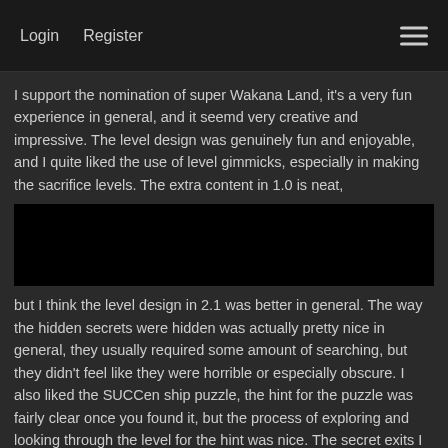Login   Register
I support the nomination of super Wakana Land, it's a very fun experience in general, and it seemd very creative and impressive. The level design was genuinely fun and enjoyable, and I quite liked the use of level gimmicks, especially in making the sacrifice levels. The extra content in 1.0 is neat,
[Figure (other): Black redacted/censored rectangle]
but I think the level design in 2.1 was better in general. The way the hidden secrets were hidden was actually pretty nice in general, they usually required some amount of searching, but they didn't feel like they were horrible or especially obscure. I also liked the SUCCen ship puzzle, the hint for the puzzle was fairly clear once you found it, but the process of exploring and looking through the level for the hint was nice. The secret exits I would say were also not too difficult to find, and were satisfying to get. Aesthetically, the game looks brilliant and it makes for a nice, satisfying package, and soundtrack-wise, not only is the music good on its own, but I would say it goes fantastic with the game itself. Also,